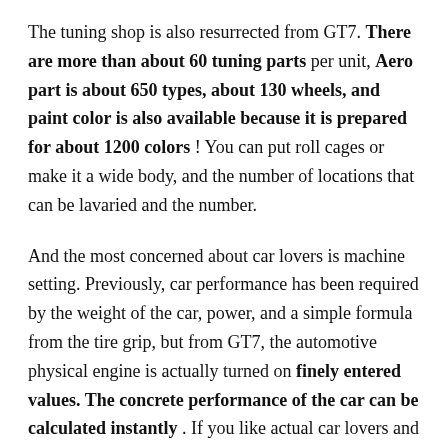The tuning shop is also resurrected from GT7. There are more than about 60 tuning parts per unit, Aero part is about 650 types, about 130 wheels, and paint color is also available because it is prepared for about 1200 colors ! You can put roll cages or make it a wide body, and the number of locations that can be lavaried and the number.
And the most concerned about car lovers is machine setting. Previously, car performance has been required by the weight of the car, power, and a simple formula from the tire grip, but from GT7, the automotive physical engine is actually turned on finely entered values. The concrete performance of the car can be calculated instantly . If you like actual car lovers and